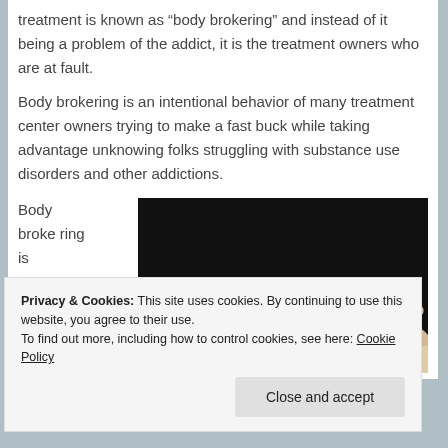treatment is known as “body brokering” and instead of it being a problem of the addict, it is the treatment owners who are at fault.
Body brokering is an intentional behavior of many treatment center owners trying to make a fast buck while taking advantage unknowing folks struggling with substance use disorders and other addictions.
Body brokering is
[Figure (photo): Two hands exchanging a stack of US dollar bills against a dark background.]
Privacy & Cookies: This site uses cookies. By continuing to use this website, you agree to their use.
To find out more, including how to control cookies, see here: Cookie Policy
Close and accept